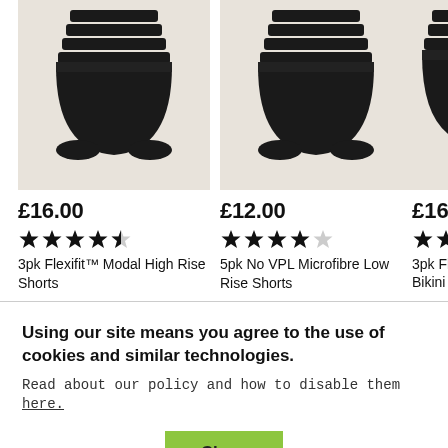[Figure (photo): Black women's high rise shorts underwear product photo on beige background]
£16.00
[Figure (other): 4.5 star rating — 4 filled stars and 1 half star]
3pk Flexifit™ Modal High Rise Shorts
[Figure (photo): Black women's low rise shorts underwear product photo on beige background]
£12.00
[Figure (other): 4 star rating — 4 filled stars and 1 empty star]
5pk No VPL Microfibre Low Rise Shorts
[Figure (photo): Black women's bikini knickers underwear product photo on beige background (partially visible)]
£16.00
[Figure (other): 4.5 star rating (partially visible)]
3pk Flexifit™ Bikini Knicker (partially visible)
Using our site means you agree to the use of cookies and similar technologies.
Read about our policy and how to disable them here.
Close